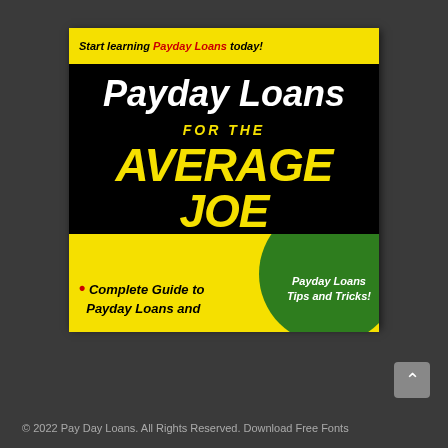[Figure (illustration): Book cover styled like 'For Dummies' series. Yellow top bar with text 'Start learning Payday Loans today!'. Black main area with white italic title 'Payday Loans', yellow 'FOR THE', large yellow 'AVERAGE JOE'. Bottom yellow section with green circle containing 'Payday Loans Tips and Tricks!' and bullet text 'Complete Guide to Payday Loans and'.]
© 2022 Pay Day Loans. All Rights Reserved. Download Free Fonts